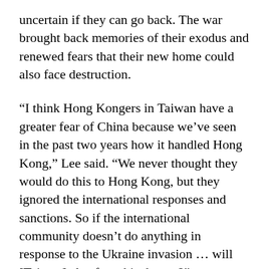uncertain if they can go back. The war brought back memories of their exodus and renewed fears that their new home could also face destruction.
“I think Hong Kongers in Taiwan have a greater fear of China because we’ve seen in the past two years how it handled Hong Kong,” Lee said. “We never thought they would do this to Hong Kong, but they ignored the international responses and sanctions. So if the international community doesn’t do anything in response to the Ukraine invasion … will [Taiwan] also face this danger?”
The war has also impressed upon Lee the importance of preparing the next generation of Hong Kongers in Taiwan, many of whom are students. It’s a group that has experienced much in the last few years—the